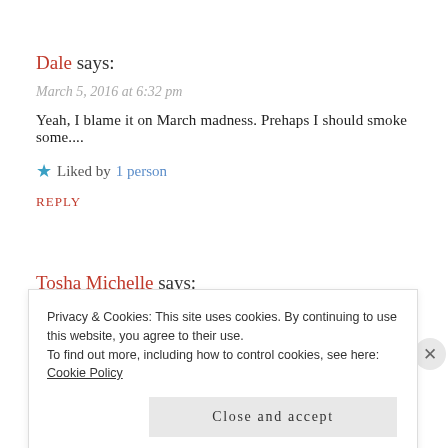Dale says:
March 5, 2016 at 6:32 pm
Yeah, I blame it on March madness. Prehaps I should smoke some....
★ Liked by 1 person
REPLY
Tosha Michelle says:
March 5, 2016 at 6:35 pm
Yeh
Privacy & Cookies: This site uses cookies. By continuing to use this website, you agree to their use.
To find out more, including how to control cookies, see here: Cookie Policy
Close and accept